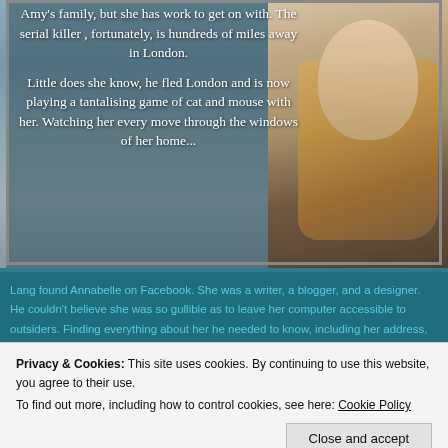[Figure (photo): Book cover image showing a woman with long blonde hair wearing black, with overlaid white text on a blurred background. The text describes a thriller plot involving Amy's family and a serial killer playing a cat and mouse game.]
Lang found Annabelle on Facebook. She was a writer, a blogger, and a designer. He couldn't believe she was so gullible as to leave her computer accessible to outsiders. Finding everything about her he needed to know, including her address, he sets about stalking her, even playing a tense game of cat and mouse as he spies on her from outside her home. Will she she him...?
Privacy & Cookies: This site uses cookies. By continuing to use this website, you agree to their use.
To find out more, including how to control cookies, see here: Cookie Policy